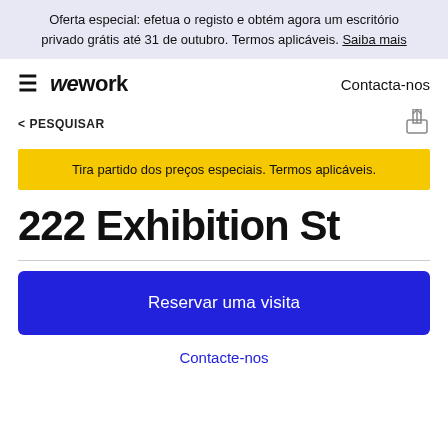Oferta especial: efetua o registo e obtém agora um escritório privado grátis até 31 de outubro. Termos aplicáveis. Saiba mais
WeWork | Contacta-nos
< PESQUISAR
Tira partido dos preços especiais. Termos aplicáveis.
222 Exhibition St
Reservar uma visita
Contacte-nos